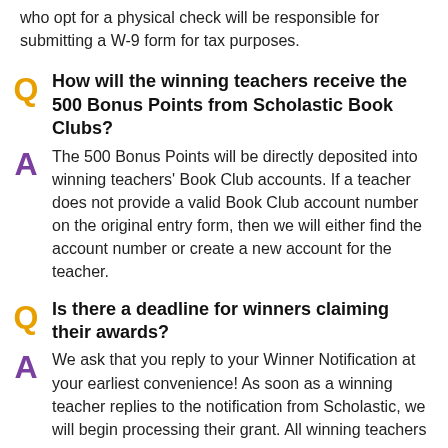who opt for a physical check will be responsible for submitting a W-9 form for tax purposes.
How will the winning teachers receive the 500 Bonus Points from Scholastic Book Clubs?
The 500 Bonus Points will be directly deposited into winning teachers' Book Club accounts. If a teacher does not provide a valid Book Club account number on the original entry form, then we will either find the account number or create a new account for the teacher.
Is there a deadline for winners claiming their awards?
We ask that you reply to your Winner Notification at your earliest convenience! As soon as a winning teacher replies to the notification from Scholastic, we will begin processing their grant. All winning teachers